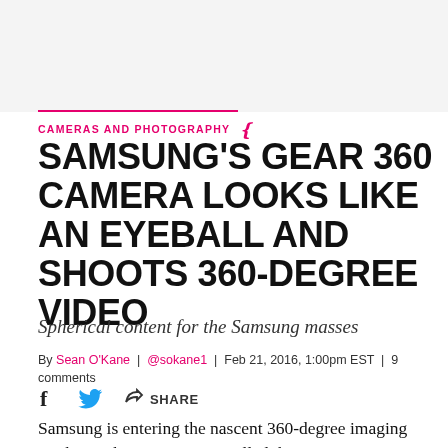CAMERAS AND PHOTOGRAPHY
SAMSUNG'S GEAR 360 CAMERA LOOKS LIKE AN EYEBALL AND SHOOTS 360-DEGREE VIDEO
Spherical content for the Samsung masses
By Sean O'Kane | @sokane1 | Feb 21, 2016, 1:00pm EST | 9 comments
SHARE
Samsung is entering the nascent 360-degree imaging market with a new camera called the Gear